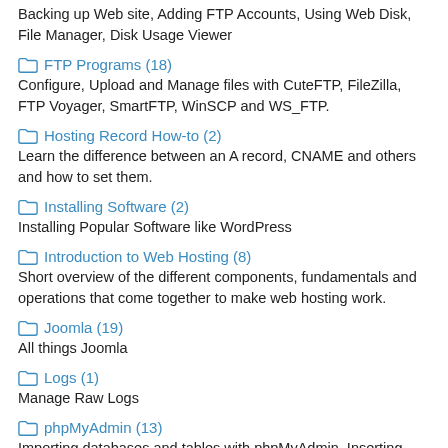Backing up Web site, Adding FTP Accounts, Using Web Disk, File Manager, Disk Usage Viewer
FTP Programs (18) — Configure, Upload and Manage files with CuteFTP, FileZilla, FTP Voyager, SmartFTP, WinSCP and WS_FTP.
Hosting Record How-to (2) — Learn the difference between an A record, CNAME and others and how to set them.
Installing Software (2) — Installing Popular Software like WordPress
Introduction to Web Hosting (8) — Short overview of the different components, fundamentals and operations that come together to make web hosting work.
Joomla (19) — All things Joomla
Logs (1) — Manage Raw Logs
phpMyAdmin (13) — Importing databases and tables with phpMyAdmin, Inserting